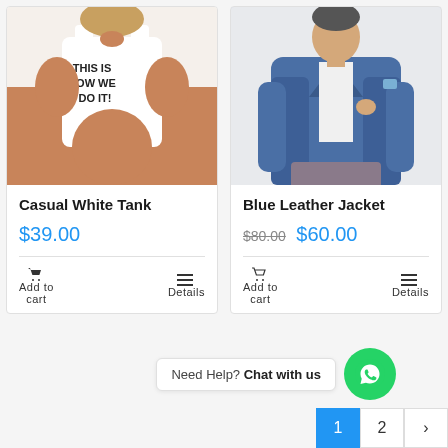[Figure (photo): Woman wearing a white tank top with text 'THIS IS HOW WE DO IT!' printed on it, seated with tanned legs visible]
Casual White Tank
$39.00
Add to cart   Details
[Figure (photo): Man wearing a blue leather jacket over a white shirt, posing with hands in pockets]
Blue Leather Jacket
$80.00  $60.00
Add to cart   Details
Need Help? Chat with us
1  2  >